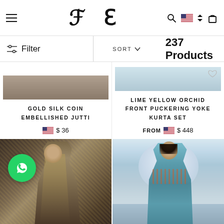FE — fashion e-commerce header with hamburger menu, logo, search, flag/currency, cart
Filter | SORT ∨ | 237 Products
GOLD SILK COIN EMBELLISHED JUTTI
$ 36
LIME YELLOW ORCHID FRONT PUCKERING YOKE KURTA SET
FROM $ 448
[Figure (photo): Woman wearing gold embellished saree in warm studio setting]
[Figure (photo): Woman wearing teal/light blue embroidered kurta set against sky/blue background]